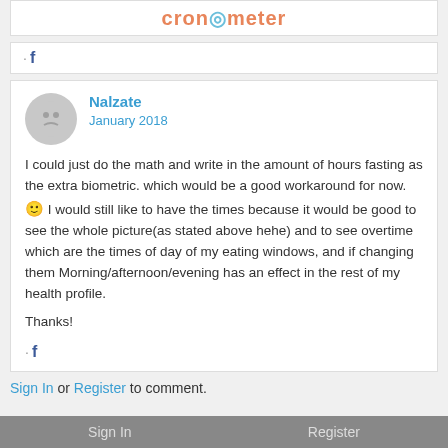cronometer
· f
Nalzate
January 2018
I could just do the math and write in the amount of hours fasting as the extra biometric. which would be a good workaround for now. 🙂 I would still like to have the times because it would be good to see the whole picture(as stated above hehe) and to see overtime which are the times of day of my eating windows, and if changing them Morning/afternoon/evening has an effect in the rest of my health profile.

Thanks!
· f
Sign In or Register to comment.
Sign In   Register